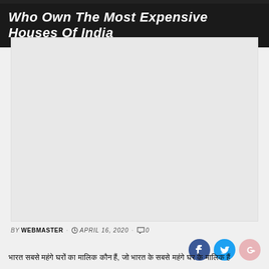Who Own The Most Expensive Houses Of India
[Figure (photo): Large blank/white image placeholder area]
BY WEBMASTER · APRIL 16, 2020 · 0
भारत सबसे महंगे घरों का मालिक कौन हैं, जो भारत के सबसे महंगे घर के मालिक हैं